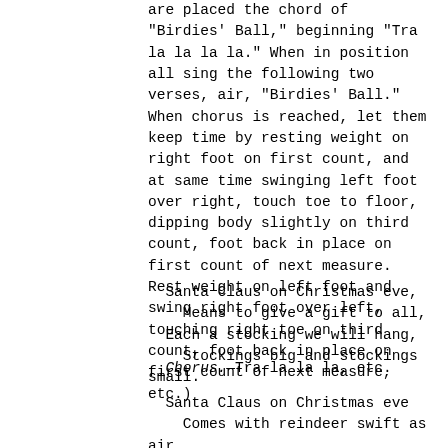are placed the chord of "Birdies' Ball," beginning "Tra la la la la." When in position all sing the following two verses, air, "Birdies' Ball." When chorus is reached, let them keep time by resting weight on right foot on first count, and at same time swinging left foot over right, touch toe to floor, dipping body slightly on third count, foot back in place on first count of next measure. Rest weight on left foot and swing right foot over left, touching right toe on third count, foot back in place on first count of next measure, etc.)
Santa Claus on Christmas eve,
    Means to give a gift to all,
Each a stocking we will hang,
    Stockings big and stockings small.
Chorus.—Tra la la la, etc.
Santa Claus on Christmas eve
    Comes with reindeer swift as air,